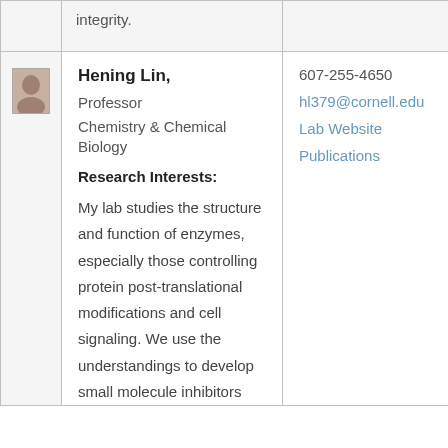integrity.
[Figure (photo): Small profile photo of Hening Lin]
Hening Lin, Professor Chemistry & Chemical Biology
Research Interests:
My lab studies the structure and function of enzymes, especially those controlling protein post-translational modifications and cell signaling. We use the understandings to develop small molecule inhibitors
607-255-4650
hl379@cornell.edu
Lab Website
Publications